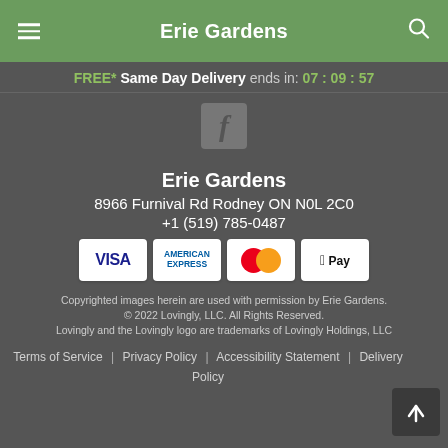Erie Gardens
FREE* Same Day Delivery ends in: 07 : 09 : 57
[Figure (logo): Facebook logo icon in grey square]
Erie Gardens
8966 Furnival Rd Rodney ON N0L 2C0
+1 (519) 785-0487
[Figure (other): Payment method badges: Visa, American Express, Mastercard, Apple Pay]
Copyrighted images herein are used with permission by Erie Gardens. © 2022 Lovingly, LLC. All Rights Reserved. Lovingly and the Lovingly logo are trademarks of Lovingly Holdings, LLC
Terms of Service | Privacy Policy | Accessibility Statement | Delivery Policy